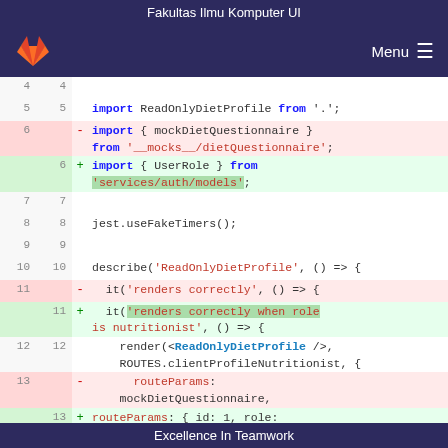Fakultas Ilmu Komputer UI
[Figure (screenshot): Navigation bar with GitLab fox logo on left and Menu hamburger icon on right, dark purple background]
Code diff view showing changes to a TypeScript/JavaScript test file. Lines 4-13 shown with old/new line numbers, deleted lines (red) and added lines (green). Key changes: line 6 removes import of mockDietQuestionnaire from __mocks__/dietQuestionnaire and adds import of UserRole from services/auth/models. Line 11 changes it('renders correctly') to it('renders correctly when role is nutritionist'). Line 13 changes routeParams: mockDietQuestionnaire to routeParams: { id: 1, role:
Excellence In Teamwork